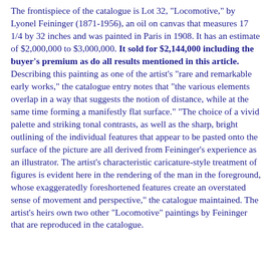The frontispiece of the catalogue is Lot 32, "Locomotive," by Lyonel Feininger (1871-1956), an oil on canvas that measures 17 1/4 by 32 inches and was painted in Paris in 1908. It has an estimate of $2,000,000 to $3,000,000. It sold for $2,144,000 including the buyer's premium as do all results mentioned in this article. Describing this painting as one of the artist's "rare and remarkable early works," the catalogue entry notes that "the various elements overlap in a way that suggests the notion of distance, while at the same time forming a manifestly flat surface." "The choice of a vivid palette and striking tonal contrasts, as well as the sharp, bright outlining of the individual features that appear to be pasted onto the surface of the picture are all derived from Feininger's experience as an illustrator. The artist's characteristic caricature-style treatment of figures is evident here in the rendering of the man in the foreground, whose exaggeratedly foreshortened features create an overstated sense of movement and perspective," the catalogue maintained. The artist's heirs own two other "Locomotive" paintings by Feininger that are reproduced in the catalogue.